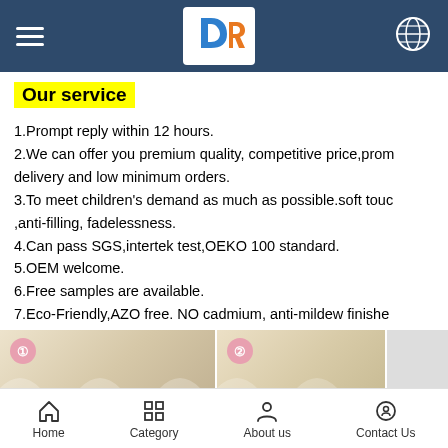DR logo navigation bar
Our service
1.Prompt reply within 12 hours.
2.We can offer you premium quality, competitive price,prompt delivery and low minimum orders.
3.To meet children's demand as much as possible.soft touch,anti-filling, fadelessness.
4.Can pass SGS,intertek test,OEKO 100 standard.
5.OEM welcome.
6.Free samples are available.
7.Eco-Friendly,AZO free. NO cadmium, anti-mildew finished.
[Figure (photo): Product images showing children's clothing items with numbered badges 1 and 2]
Home | Category | About us | Contact Us